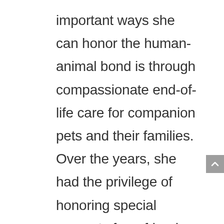important ways she can honor the human-animal bond is through compassionate end-of-life care for companion pets and their families. Over the years, she had the privilege of honoring special requests from friends and clients to euthanize their beloved companions at home and saw the difference between saying goodbye in a hospital, and doing so in familiar, comfortable surroundings. She established Peaceful Paws Veterinary Hospice in 2015, with a mission to provide